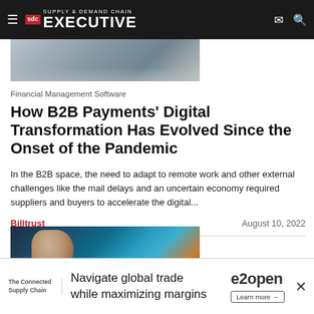Supply & Demand Chain Executive
[Figure (photo): Partial view of a document/desk photo at the top of the article listing]
Financial Management Software
How B2B Payments’ Digital Transformation Has Evolved Since the Onset of the Pandemic
In the B2B space, the need to adapt to remote work and other external challenges like the mail delays and an uncertain economy required suppliers and buyers to accelerate the digital...
Billtrust August 10, 2022
[Figure (photo): Close-up photo of a finger touching electronic circuit board components with blue lighting]
Navigate global trade while maximizing margins — e2open Learn more →